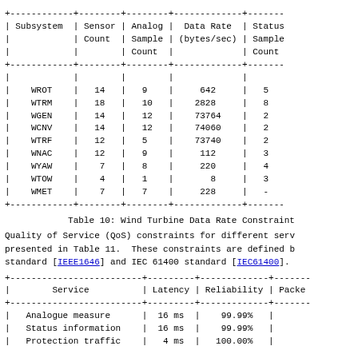| Subsystem | Sensor Count | Analog Sample Count | Data Rate (bytes/sec) | Status Sample Count |
| --- | --- | --- | --- | --- |
| WROT | 14 | 9 | 642 | 5 |
| WTRM | 18 | 10 | 2828 | 8 |
| WGEN | 14 | 12 | 73764 | 2 |
| WCNV | 14 | 12 | 74060 | 2 |
| WTRF | 12 | 5 | 73740 | 2 |
| WNAC | 12 | 9 | 112 | 3 |
| WYAW | 7 | 8 | 220 | 4 |
| WTOW | 4 | 1 | 8 | 3 |
| WMET | 7 | 7 | 228 | - |
Table 10: Wind Turbine Data Rate Constraint
Quality of Service (QoS) constraints for different serv presented in Table 11.  These constraints are defined b standard [IEEE1646] and IEC 61400 standard [IEC61400].
| Service | Latency | Reliability | Packe |
| --- | --- | --- | --- |
| Analogue measure | 16 ms | 99.99% |  |
| Status information | 16 ms | 99.99% |  |
| Protection traffic | 4 ms | 100.00% |  |